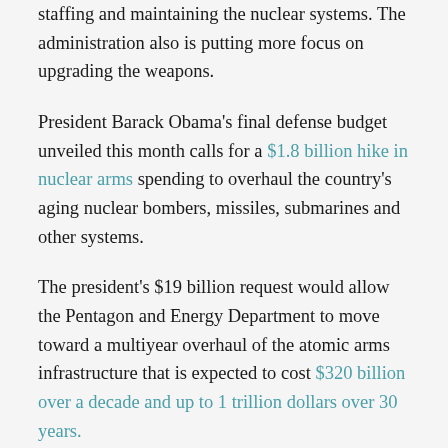staffing and maintaining the nuclear systems. The administration also is putting more focus on upgrading the weapons.
President Barack Obama's final defense budget unveiled this month calls for a $1.8 billion hike in nuclear arms spending to overhaul the country's aging nuclear bombers, missiles, submarines and other systems.
The president's $19 billion request would allow the Pentagon and Energy Department to move toward a multiyear overhaul of the atomic arms infrastructure that is expected to cost $320 billion over a decade and up to 1 trillion dollars over 30 years.
The nuclear spending boost is an ironic turn for a